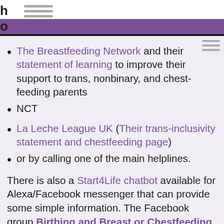h o
The Breastfeeding Network and their statement of learning to improve their support to trans, nonbinary, and chest-feeding parents
NCT
La Leche League UK (Their trans-inclusivity statement and chestfeeding page)
or by calling one of the main helplines.
There is also a Start4Life chatbot available for Alexa/Facebook messenger that can provide some simple information. The Facebook group Birthing and Breast or Chestfeeding Trans People and Allies...